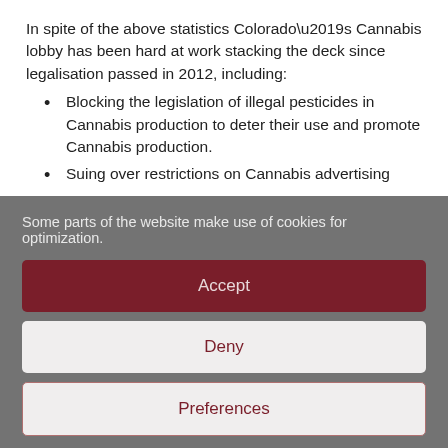In spite of the above statistics Colorado’s Cannabis lobby has been hard at work stacking the deck since legalisation passed in 2012, including:
Blocking the legislation of illegal pesticides in Cannabis production to deter their use and promote Cannabis production.
Suing over restrictions on Cannabis advertising
Some parts of the website make use of cookies for optimization.
Accept
Deny
Preferences